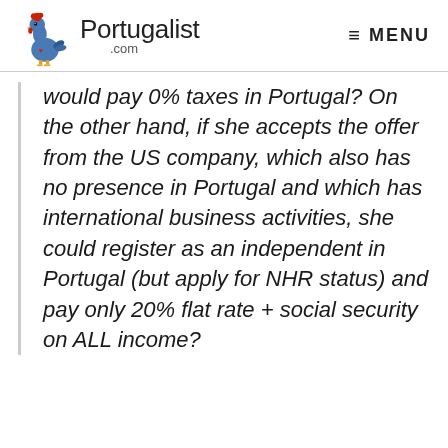Portugalist .com  MENU
would pay 0% taxes in Portugal? On the other hand, if she accepts the offer from the US company, which also has no presence in Portugal and which has international business activities, she could register as an independent in Portugal (but apply for NHR status) and pay only 20% flat rate + social security on ALL income?